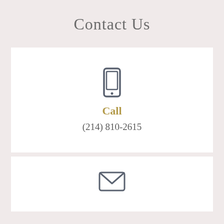Contact Us
Call
(214) 810-2615
[Figure (illustration): Phone/mobile icon (outline of a smartphone)]
[Figure (illustration): Email/envelope icon (outline of an open envelope with letter inside)]